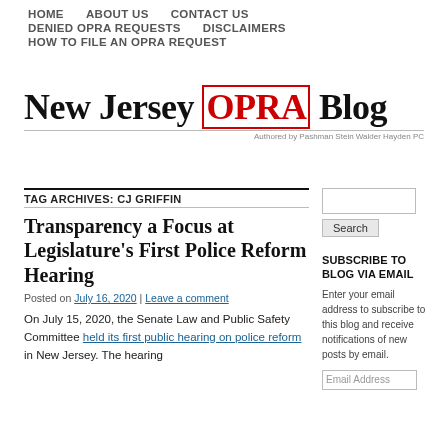HOME   ABOUT US   CONTACT US   DENIED OPRA REQUESTS   DISCLAIMERS   HOW TO FILE AN OPRA REQUEST
New Jersey OPRA Blog — Authored by Pashman Stein Walder Hayden PC
TAG ARCHIVES: CJ GRIFFIN
Transparency a Focus at Legislature's First Police Reform Hearing
Posted on July 16, 2020 | Leave a comment
On July 15, 2020, the Senate Law and Public Safety Committee held its first public hearing on police reform in New Jersey. The hearing
SUBSCRIBE TO BLOG VIA EMAIL
Enter your email address to subscribe to this blog and receive notifications of new posts by email.
Email Address